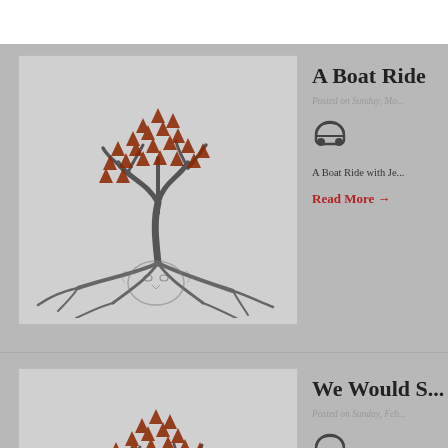[Figure (illustration): Tree with red/orange leaf canopy and roots forming a lion face, on light gray background]
A Boat Ride
Posted on Sunday, Mo...
[Figure (other): Headphone icon]
A Boat Ride with Je...
Read More →
[Figure (illustration): Tree with red/orange leaf canopy on light gray background]
We Would S...
Posted on Sunday, Feb...
[Figure (other): Headphone icon]
We Would See Jesu...